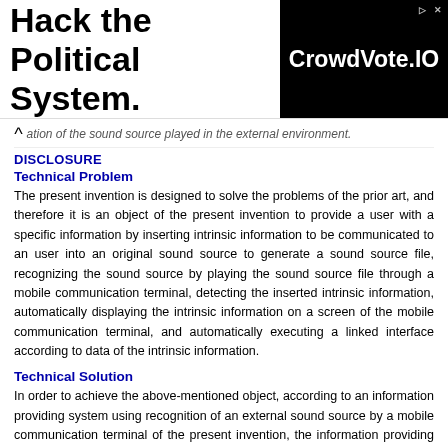[Figure (other): Advertisement banner: 'Hack the Political System.' text on left, CrowdVote.IO logo on black background on right]
ation of the sound source played in the external environment.
DISCLOSURE
Technical Problem
The present invention is designed to solve the problems of the prior art, and therefore it is an object of the present invention to provide a user with a specific information by inserting intrinsic information to be communicated to an user into an original sound source to generate a sound source file, recognizing the sound source by playing the sound source file through a mobile communication terminal, detecting the inserted intrinsic information, automatically displaying the intrinsic information on a screen of the mobile communication terminal, and automatically executing a linked interface according to data of the intrinsic information.
Technical Solution
In order to achieve the above-mentioned object, according to an information providing system using recognition of an external sound source by a mobile communication terminal of the present invention, the information providing system in which the mobile communication terminal recognizes a specific sound source in the external environment, detects intrinsic information from sound source information and displays the contents contained in the